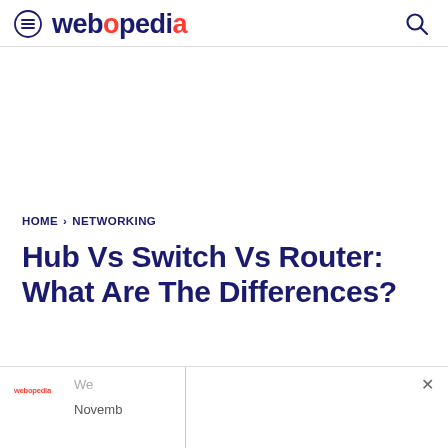webopedia
HOME › NETWORKING
Hub Vs Switch Vs Router: What Are The Differences?
We
Novemb